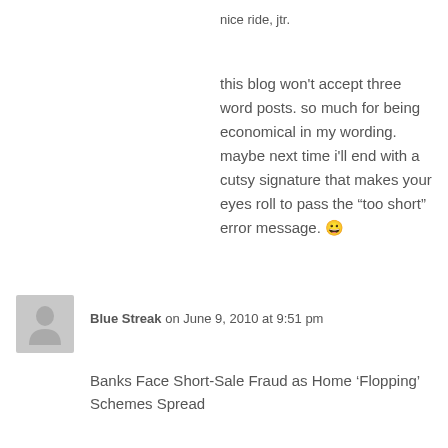nice ride, jtr.
this blog won't accept three word posts. so much for being economical in my wording. maybe next time i'll end with a cutsy signature that makes your eyes roll to pass the “too short” error message. 😀
Blue Streak on June 9, 2010 at 9:51 pm
Banks Face Short-Sale Fraud as Home ‘Flopping’ Schemes Spread